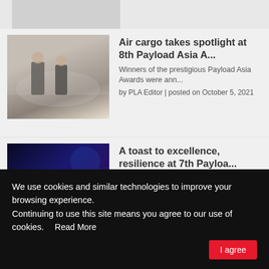[Figure (photo): Partial top strip showing a conference/event photo with suited individuals]
Air cargo takes spotlight at 8th Payload Asia A...
Winners of the prestigious Payload Asia Awards were ann...
by PLA Editor | posted on October 5, 2021
[Figure (photo): Dark event photo with Payload Asia Awards branding in red and white text on a dark blue background]
A toast to excellence, resilience at 7th Payloa...
More than 60 industry professionals attended the digita...
by PLA Editor | posted on January 22, 2021
[Figure (photo): Night cityscape of Singapore with city lights and waterfront, streaks of red/orange light]
Singapore to host air cargo, logistics events in...
transport logistic and air cargo Southeast Asia will ta...
by PLA Editor | posted on December 6, 2021
We use cookies and similar technologies to improve your browsing experience.
Continuing to use this site means you agree to our use of cookies.   Read More
I agree